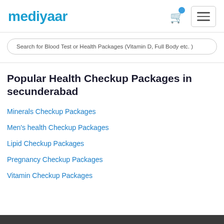mediyaar
Search for Blood Test or Health Packages (Vitamin D, Full Body etc. )
Popular Health Checkup Packages in secunderabad
Minerals Checkup Packages
Men's health Checkup Packages
Lipid Checkup Packages
Pregnancy Checkup Packages
Vitamin Checkup Packages